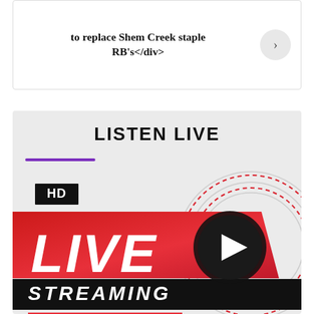to replace Shem Creek staple RB's</div>
LISTEN LIVE
[Figure (illustration): HD Live Streaming graphic with red gradient banner, LIVE text, STREAMING black banner, play button circle, red concentric swirl decoration, and 'Click to Launch Radio App' label]